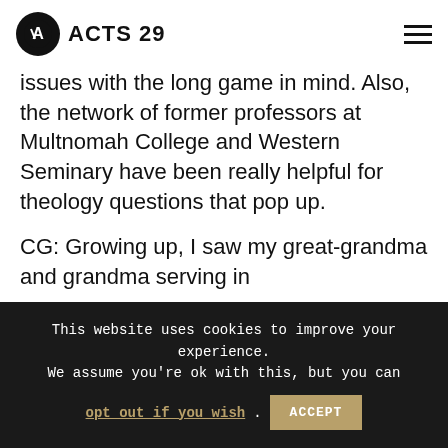ACTS 29
issues with the long game in mind. Also, the network of former professors at Multnomah College and Western Seminary have been really helpful for theology questions that pop up.
CG: Growing up, I saw my great-grandma and grandma serving in
This website uses cookies to improve your experience. We assume you're ok with this, but you can opt out if you wish. ACCEPT